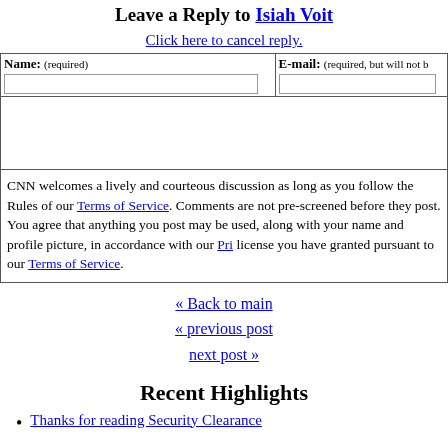Leave a Reply to Isiah Voit
Click here to cancel reply.
| Name: (required) | E-mail: (required, but will not be published) |
| --- | --- |
|  |  |
(comment text area)
CNN welcomes a lively and courteous discussion as long as you follow the Rules of our Terms of Service. Comments are not pre-screened before they post. You agree that anything you post may be used, along with your name and profile picture, in accordance with our Pri... license you have granted pursuant to our Terms of Service.
« Back to main
« previous post
next post »
Recent Highlights
Thanks for reading Security Clearance